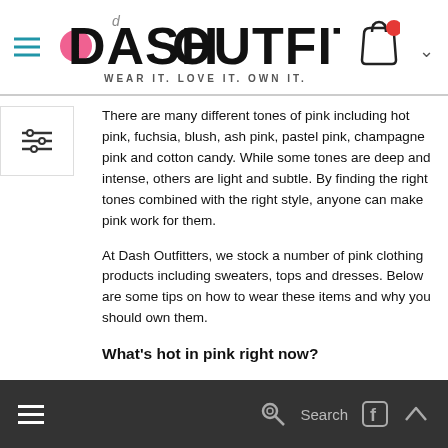DASH OUTFITTERS — WEAR IT. LOVE IT. OWN IT.
There are many different tones of pink including hot pink, fuchsia, blush, ash pink, pastel pink, champagne pink and cotton candy. While some tones are deep and intense, others are light and subtle. By finding the right tones combined with the right style, anyone can make pink work for them.
At Dash Outfitters, we stock a number of pink clothing products including sweaters, tops and dresses. Below are some tips on how to wear these items and why you should own them.
What's hot in pink right now?
Search